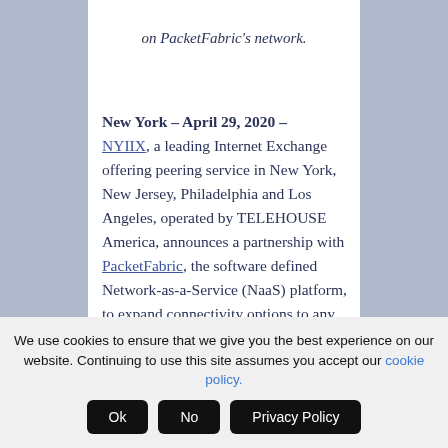on PacketFabric's network.
New York – April 29, 2020 – NYIIX, a leading Internet Exchange offering peering service in New York, New Jersey, Philadelphia and Los Angeles, operated by TELEHOUSE America, announces a partnership with PacketFabric, the software defined Network-as-a-Service (NaaS) platform, to expand connectivity options to any PacketFabric Point of Presence
We use cookies to ensure that we give you the best experience on our website. Continuing to use this site assumes you accept our cookie policy.